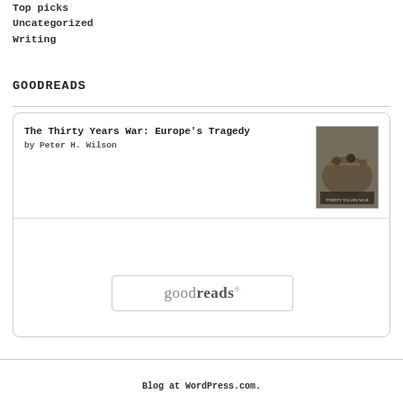Top picks
Uncategorized
Writing
GOODREADS
[Figure (other): Goodreads widget showing book 'The Thirty Years War: Europe's Tragedy' by Peter H. Wilson with book cover image and a goodreads button]
Blog at WordPress.com.